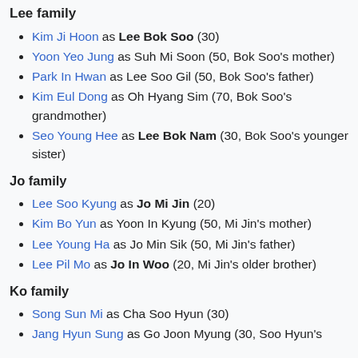Lee family
Kim Ji Hoon as Lee Bok Soo (30)
Yoon Yeo Jung as Suh Mi Soon (50, Bok Soo's mother)
Park In Hwan as Lee Soo Gil (50, Bok Soo's father)
Kim Eul Dong as Oh Hyang Sim (70, Bok Soo's grandmother)
Seo Young Hee as Lee Bok Nam (30, Bok Soo's younger sister)
Jo family
Lee Soo Kyung as Jo Mi Jin (20)
Kim Bo Yun as Yoon In Kyung (50, Mi Jin's mother)
Lee Young Ha as Jo Min Sik (50, Mi Jin's father)
Lee Pil Mo as Jo In Woo (20, Mi Jin's older brother)
Ko family
Song Sun Mi as Cha Soo Hyun (30)
Jang Hyun Sung as Go Joon Myung (30, Soo Hyun's